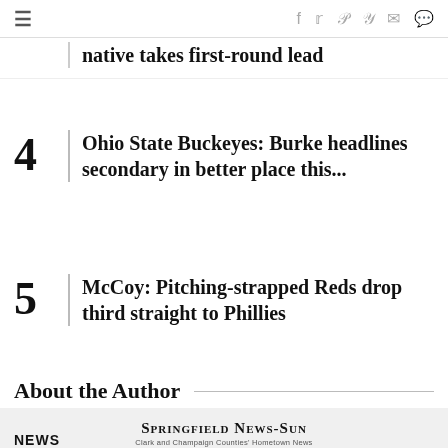Navigation and social share bar
native takes first-round lead
4 Ohio State Buckeyes: Burke headlines secondary in better place this...
5 McCoy: Pitching-strapped Reds drop third straight to Phillies
About the Author
Springfield News-Sun
Clark and Champaign Counties' Hometown News
NEWS